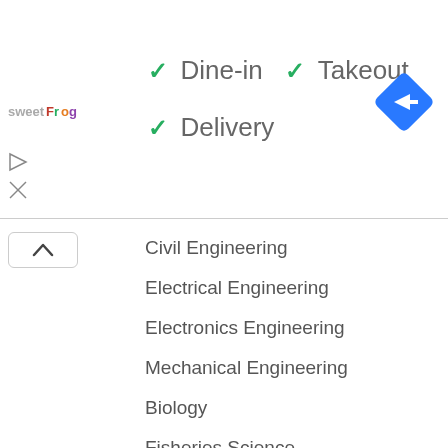[Figure (logo): sweetFrog logo in pink/green text]
✓ Dine-in  ✓ Takeout
✓ Delivery
[Figure (other): Blue diamond navigation/direction icon]
[Figure (other): Play and close/ads icons]
Civil Engineering
Electrical Engineering
Electronics Engineering
Mechanical Engineering
Biology
Fisheries Science
Philosophy
Anthropology
Environmental Studies
Music
Physical Education
Sociology
Psychology